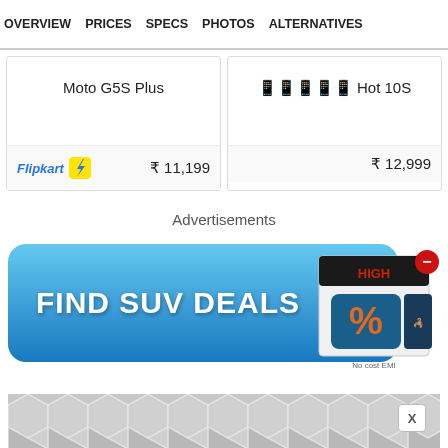OVERVIEW  PRICES  SPECS  PHOTOS  ALTERNATIVES
| Product | Price |
| --- | --- |
| Moto G5S Plus | ₹ 11,199 |
| Infinix Hot 10S | ₹ 12,999 |
Advertisements
[Figure (photo): Advertisement banner: blue button with text 'FIND SUV DEALS' and a product box image with percentage symbol, red minus close button]
[Figure (photo): Second advertisement with gray hexagonal/cube pattern, X close button]